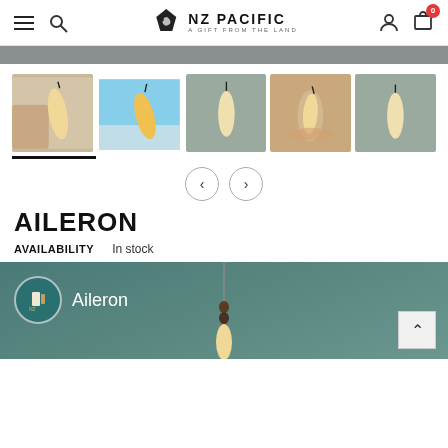NZ Pacific – A Gift From the Land – navigation bar with hamburger menu, search, user, and cart icons
[Figure (screenshot): Product thumbnail gallery showing 5 images of the Aileron bone pendant carving from different angles and backgrounds]
AILERON
AVAILABILITY   In stock
[Figure (screenshot): Bottom panel showing a video thumbnail with circular icon and text 'Aileron', a pendant on a string, and a back-to-top arrow button]